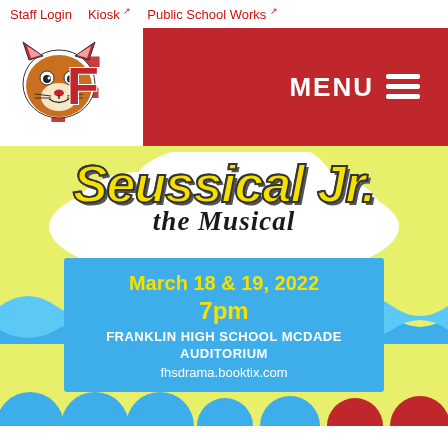Staff Login  Kiosk  Public School Works
[Figure (logo): Franklin High School wildcat mascot logo with red F letter]
MENU
[Figure (illustration): Seussical Jr. the Musical promotional poster on yellow-green background with blue waves, blue info box, and colorful decorative elements]
Seussical Jr.
the Musical
March 18 & 19, 2022
7pm
FRANKLIN HIGH SCHOOL MCDADE AUDITORIUM
fhsdrama.booktix.com